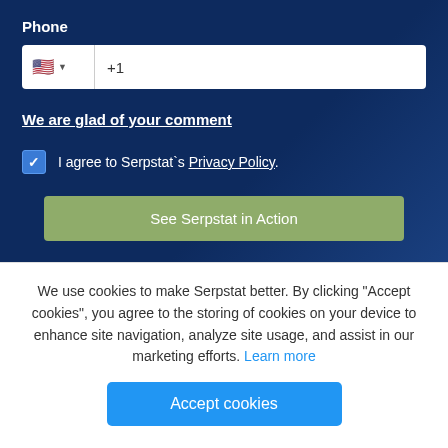Phone
We are glad of your comment
I agree to Serpstat`s Privacy Policy.
See Serpstat in Action
Growth hacking tool for SEO, PPC and content
We use cookies to make Serpstat better. By clicking "Accept cookies", you agree to the storing of cookies on your device to enhance site navigation, analyze site usage, and assist in our marketing efforts. Learn more
Accept cookies